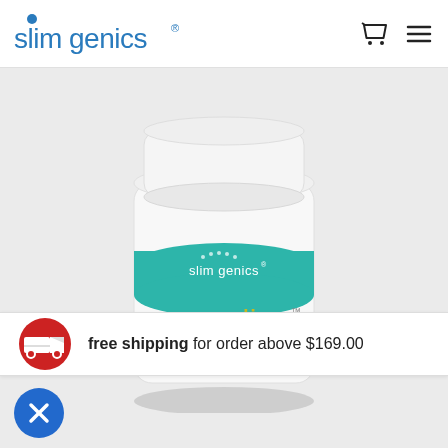slimgenics
[Figure (photo): Product photo of a white plastic jar labeled 'pura-slim' by slimgenics. The jar has a teal/turquoise band with the slimgenics logo and dots. Below the band in teal text reads 'pura' and in olive/yellow text 'slim' with a trademark symbol. Below it reads 'BOTANICAL SUPPLEMENT WITH NIACIN, MAGNESIUM AND TYROSINE'.]
free shipping for order above $169.00